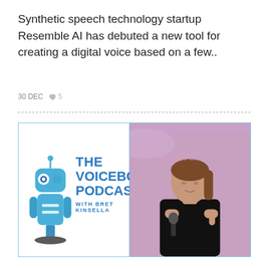Synthetic speech technology startup Resemble AI has debuted a new tool for creating a digital voice based on a few..
30 DEC  ♥ 5
[Figure (illustration): Split image: left side shows 'The Voicebot Podcast with Bret Kinsella' podcast logo with a blue robot microphone illustration on white background with light blue border; right side shows a woman in a black outfit speaking at a conference while holding a microphone, with partial text 'Dr. P... anlon, Fo...' visible in the background.]